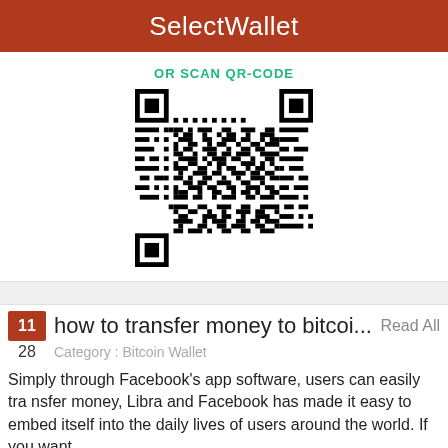SelectWallet
OR SCAN QR-CODE
[Figure (other): QR code for SelectWallet]
11  how to transfer money to bitcoi...  Read All
28  Category : Bitcoin Wallet
Simply through Facebook's app software, users can easily transfer money, Libra and Facebook has made it easy to embed itself into the daily lives of users around the world. If you want